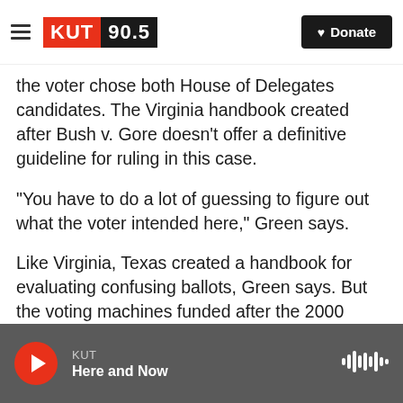KUT 90.5 | Donate
the voter chose both House of Delegates candidates. The Virginia handbook created after Bush v. Gore doesn't offer a definitive guideline for ruling in this case.
“You have to do a lot of guessing to figure out what the voter intended here,” Green says.
Like Virginia, Texas created a handbook for evaluating confusing ballots, Green says. But the voting machines funded after the 2000 election are growing old, and funding hasn’t been provided to most states to acquire new ones.
KUT | Here and Now